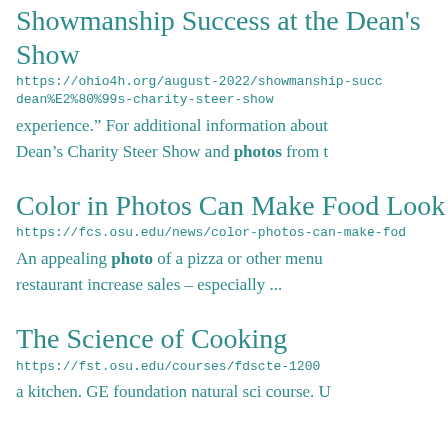Showmanship Success at the Dean's Show
https://ohio4h.org/august-2022/showmanship-succ dean%E2%80%99s-charity-steer-show
experience.” For additional information about Dean’s Charity Steer Show and photos from t
Color in Photos Can Make Food Look
https://fcs.osu.edu/news/color-photos-can-make-fod
An appealing photo of a pizza or other menu restaurant increase sales – especially ...
The Science of Cooking
https://fst.osu.edu/courses/fdscte-1200
a kitchen. GE foundation natural sci course. U